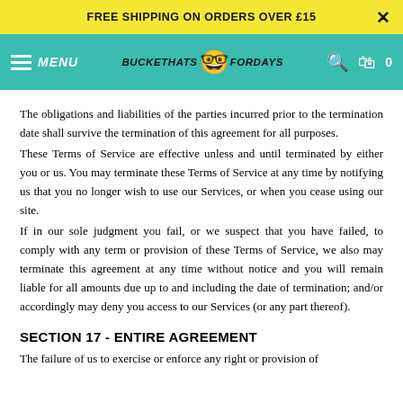FREE SHIPPING ON ORDERS OVER £15
[Figure (logo): BucketHats ForDays website navigation bar with teal background, hamburger menu, logo and icons]
The obligations and liabilities of the parties incurred prior to the termination date shall survive the termination of this agreement for all purposes.
These Terms of Service are effective unless and until terminated by either you or us. You may terminate these Terms of Service at any time by notifying us that you no longer wish to use our Services, or when you cease using our site.
If in our sole judgment you fail, or we suspect that you have failed, to comply with any term or provision of these Terms of Service, we also may terminate this agreement at any time without notice and you will remain liable for all amounts due up to and including the date of termination; and/or accordingly may deny you access to our Services (or any part thereof).
SECTION 17 - ENTIRE AGREEMENT
The failure of us to exercise or enforce any right or provision of